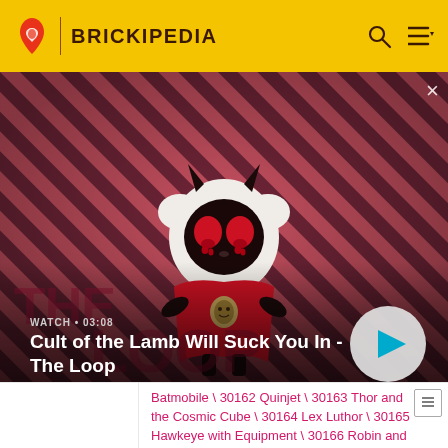BRICKIPEDIA
[Figure (screenshot): Cult of the Lamb game character on diagonal red and dark stripe background, resembling a cartoon lamb creature with horns and red eyes, wearing a red cape. Video thumbnail from The Loop series on Brickipedia. Duration shown: 03:08. Title: Cult of the Lamb Will Suck You In - The Loop]
Batmobile \ 30162 Quinjet \ 30163 Thor and the Cosmic Cube \ 30164 Lex Luthor \ 30165 Hawkeye with Equipment \ 30166 Robin and Redbird Cycle \ 30167 Iron Man vs. Fighting Drone \ 30168 Gun Mounting System \ 30300 The